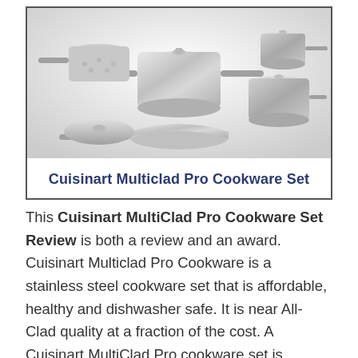[Figure (photo): Photo of a Cuisinart MultiClad Pro stainless steel cookware set — multiple pots, pans, and lids arranged together. Below the photo, inside a bordered box, is the text 'Cuisinart Multiclad Pro Cookware Set' in bold dark blue.]
This Cuisinart MultiClad Pro Cookware Set Review is both a review and an award. Cuisinart Multiclad Pro Cookware is a stainless steel cookware set that is affordable, healthy and dishwasher safe. It is near All-Clad quality at a fraction of the cost. A Cuisinart MultiClad Pro cookware set is beautiful brushed stainless